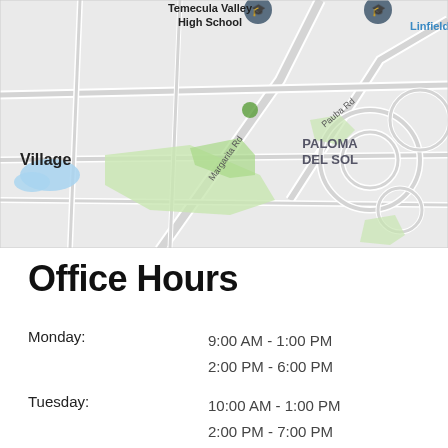[Figure (map): Google Maps screenshot showing Temecula Valley area with roads including Margarita Rd and Pauba Rd, landmarks including Temecula Valley High School and Linfield Christian School, neighborhood Village on the left, and Paloma Del Sol neighborhood on the right. Green park areas visible. Map has light gray road network on light background.]
Office Hours
| Day | Hours |
| --- | --- |
| Monday: | 9:00 AM - 1:00 PM
2:00 PM - 6:00 PM |
| Tuesday: | 10:00 AM - 1:00 PM
2:00 PM - 7:00 PM |
| Wednesday: | 2:00 PM - 6:00 PM |